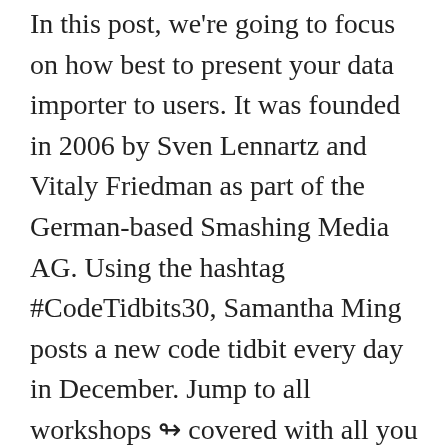In this post, we're going to focus on how best to present your data importer to users. It was founded in 2006 by Sven Lennartz and Vitaly Friedman as part of the German-based Smashing Media AG. Using the hashtag #CodeTidbits30, Samantha Ming posts a new code tidbit every day in December. Jump to all workshops ↬ covered with all you need to master this new world. really.How to become a Smashing Magazine AuthorSmashing Magazine's primary goal is to deliver quality material for designers and web-developers. and keep it fast. A reactive variable in GraphQL Apollo is easy to use and doesn't have as much setup process ... Smashing Magazine, an online magazine for professional designers and developers. How To Create A Self-Paced Email Course by Paul Jarvis; Technical Information. Kilian Valkhof summarized